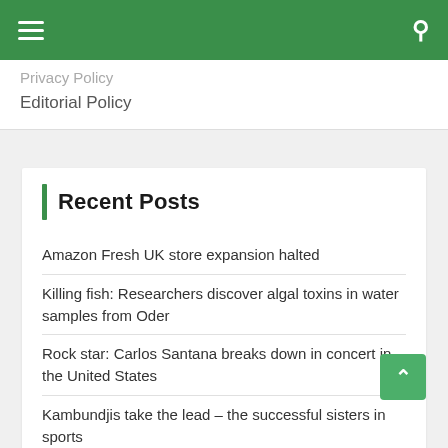Navigation bar with hamburger menu and search icon
Privacy Policy
Editorial Policy
Recent Posts
Amazon Fresh UK store expansion halted
Killing fish: Researchers discover algal toxins in water samples from Oder
Rock star: Carlos Santana breaks down in concert in the United States
Kambundjis take the lead – the successful sisters in sports
AOC launches three monitors for the home office